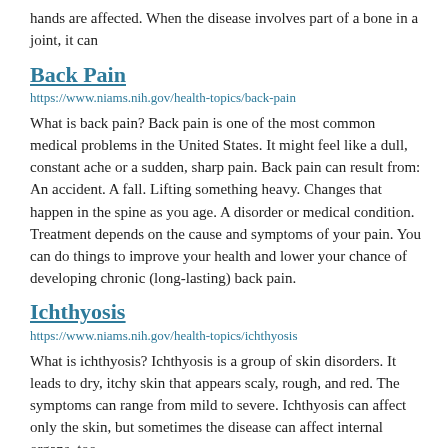hands are affected. When the disease involves part of a bone in a joint, it can
Back Pain
https://www.niams.nih.gov/health-topics/back-pain
What is back pain? Back pain is one of the most common medical problems in the United States. It might feel like a dull, constant ache or a sudden, sharp pain. Back pain can result from: An accident. A fall. Lifting something heavy. Changes that happen in the spine as you age. A disorder or medical condition. Treatment depends on the cause and symptoms of your pain. You can do things to improve your health and lower your chance of developing chronic (long-lasting) back pain.
Ichthyosis
https://www.niams.nih.gov/health-topics/ichthyosis
What is ichthyosis? Ichthyosis is a group of skin disorders. It leads to dry, itchy skin that appears scaly, rough, and red. The symptoms can range from mild to severe. Ichthyosis can affect only the skin, but sometimes the disease can affect internal organs, too.
Machine learning detects early signs of